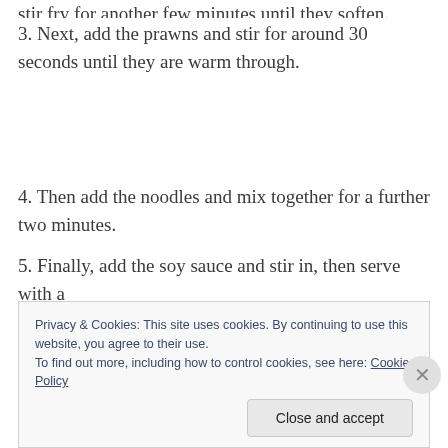stir fry for another few minutes until they soften.
3. Next, add the prawns and stir for around 30 seconds until they are warm through.
4. Then add the noodles and mix together for a further two minutes.
5. Finally, add the soy sauce and stir in, then serve with a
Privacy & Cookies: This site uses cookies. By continuing to use this website, you agree to their use.
To find out more, including how to control cookies, see here: Cookie Policy